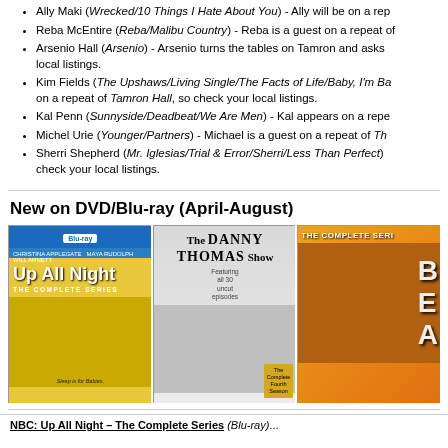Ally Maki (Wrecked/10 Things I Hate About You) - Ally will be on a rep...
Reba McEntire (Reba/Malibu Country) - Reba is a guest on a repeat of...
Arsenio Hall (Arsenio) - Arsenio turns the tables on Tamron and asks... local listings.
Kim Fields (The Upshaws/Living Single/The Facts of Life/Baby, I'm Ba... on a repeat of Tamron Hall, so check your local listings.
Kal Penn (Sunnyside/Deadbeat/We Are Men) - Kal appears on a repe...
Michel Urie (Younger/Partners) - Michael is a guest on a repeat of Th...
Sherri Shepherd (Mr. Iglesias/Trial & Error/Sherri/Less Than Perfect) ... check your local listings.
New on DVD/Blu-ray (April-August)
[Figure (photo): DVD cover for 'Up All Night: The Complete Series' Blu-ray, yellow background with cast photo, blue top strip with Blu-ray logo]
[Figure (photo): DVD cover for 'The Danny Thomas Show' featuring cast photo in black and white style, with 'The Complete Fourth Season' badge]
[Figure (photo): DVD cover for 'The Complete Series' with orange background, showing a person in suit with skeleton, partial title visible]
NBC: Up All Night – The Complete Series (Blu-ray)...